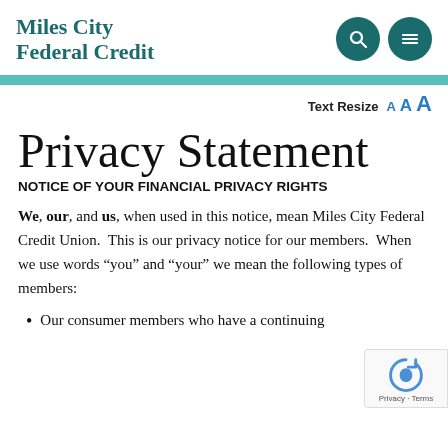Miles City Federal Credit
Text Resize A A A
Privacy Statement
NOTICE OF YOUR FINANCIAL PRIVACY RIGHTS
We, our, and us, when used in this notice, mean Miles City Federal Credit Union.  This is our privacy notice for our members.  When we use words “you” and “your” we mean the following types of members:
Our consumer members who have a continuing